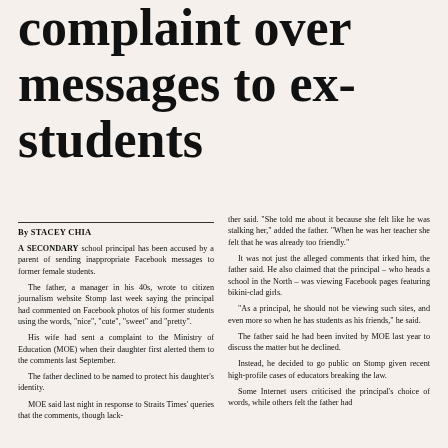complaint over messages to ex-students
By STACEY CHIA
A SECONDARY school principal has been accused by a parent of sending inappropriate Facebook messages to former female students.

The father, a manager in his 40s, wrote to citizen journalism website Stomp last week saying the principal had commented on Facebook photos of his former students using the words, "nice", "cute", "sweet" and "pretty".

His wife had sent a complaint to the Ministry of Education (MOE) when their daughter first alerted them to the comments last September.

The father declined to be named to protect his daughter's identity.

MOE said last night in response to Straits Times' queries that the comments, though lack-
ther said. "She told me about it because she felt like he was stalking her," added the father. "When he was her teacher she felt that he was already too friendly."

It was not just the alleged comments that irked him, the father said. He also claimed that the principal – who heads a school in the North – was viewing Facebook pages featuring bikini-clad girls.

"As a principal, he should not be viewing such sites, and even more so when he has students as his friends," he said.

The father said he had been invited by MOE last year to discuss the matter but he declined.

Instead, he decided to go public on Stomp given recent high-profile cases of educators breaking the law.

Some Internet users criticised the principal's choice of words, while others felt the father had